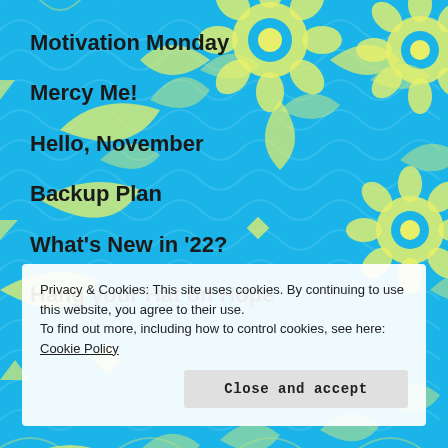[Figure (illustration): Blue and yellow floral decorative pattern background covering the full page]
Motivation Monday
Mercy Me!
Hello, November
Backup Plan
What's New in '22?
Hang your Hat on Hope
Privacy & Cookies: This site uses cookies. By continuing to use this website, you agree to their use.
To find out more, including how to control cookies, see here: Cookie Policy
Close and accept